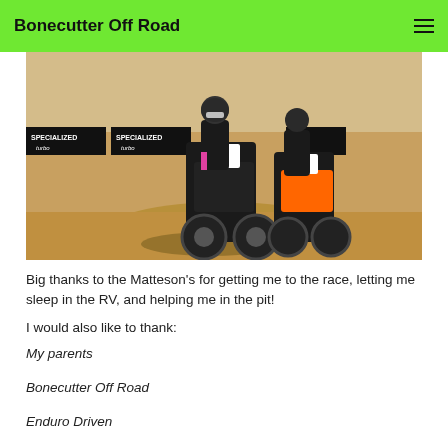Bonecutter Off Road
[Figure (photo): Two motocross riders on dirt bikes racing on a sandy dirt track with Specialized Turbo banners in the background. Rider #517 is in front on a black/pink bike, rider #106 is behind on an orange bike.]
Big thanks to the Matteson's for getting me to the race, letting me sleep in the RV, and helping me in the pit!
I would also like to thank:
My parents
Bonecutter Off Road
Enduro Driven